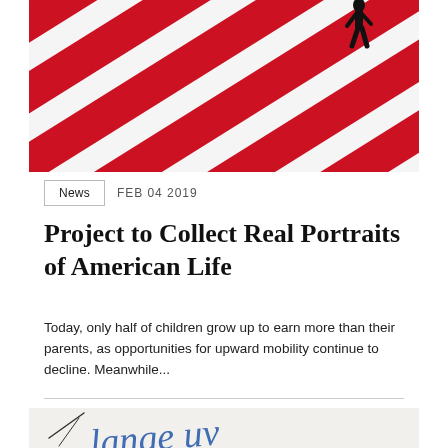[Figure (photo): Red and white diagonal stripes with a silhouette of a person walking, cropped at top, suggesting American flag imagery]
News   FEB 04 2019
Project to Collect Real Portraits of American Life
Today, only half of children grow up to earn more than their parents, as opportunities for upward mobility continue to decline. Meanwhile...
[Figure (photo): Partial view of handwritten or graffiti-style text in blue on a light background, partially visible at bottom of page]